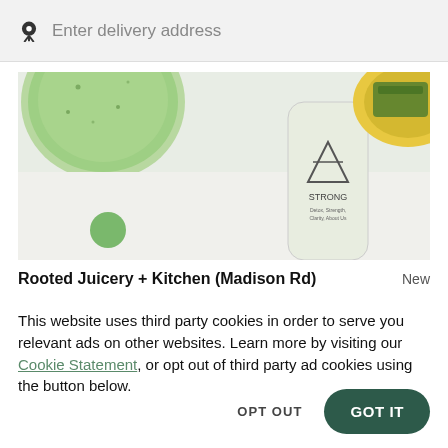Enter delivery address
[Figure (photo): Overhead photo of green smoothie cups, a white bottle labeled STRONG with a triangle logo, and a yellow plate with food in the background on a white surface.]
Rooted Juicery + Kitchen (Madison Rd)
New
This website uses third party cookies in order to serve you relevant ads on other websites. Learn more by visiting our Cookie Statement, or opt out of third party ad cookies using the button below.
OPT OUT
GOT IT